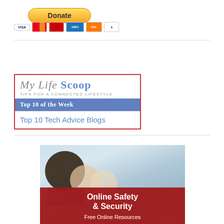[Figure (illustration): Yellow Donate button]
[Figure (illustration): Payment icons: VISA, Mastercard, two others, and a card icon]
[Figure (illustration): My Life Scoop badge with red border. Title: My Life Scoop, Tips for a Connected Lifestyle. Blue bar: Top 10 of the Week. Link text: Top 10 Tech Advice Blogs]
[Figure (photo): Children at computers with red overlay reading Online Safety & Security, Free Online Resources]